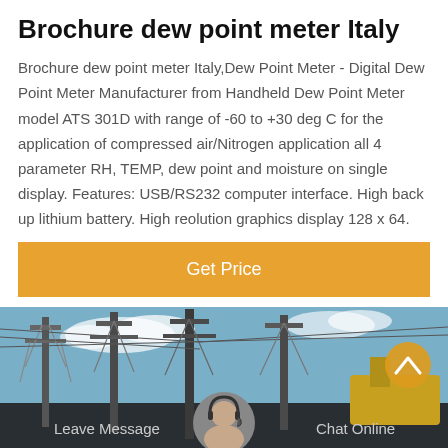Brochure dew point meter Italy
Brochure dew point meter Italy,Dew Point Meter - Digital Dew Point Meter Manufacturer from Handheld Dew Point Meter model ATS 301D with range of -60 to +30 deg C for the application of compressed air/Nitrogen application all 4 parameter RH, TEMP, dew point and moisture on single display. Features: USB/RS232 computer interface. High back up lithium battery. High reolution graphics display 128 x 64.
[Figure (screenshot): Orange 'Get Price' button]
[Figure (photo): Industrial electrical towers/pylons against a blue sky, with a chat bar at the bottom showing 'Leave Message' and 'Chat Online' options and a customer service avatar in the center]